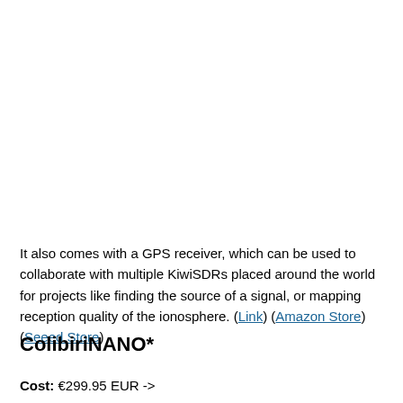It also comes with a GPS receiver, which can be used to collaborate with multiple KiwiSDRs placed around the world for projects like finding the source of a signal, or mapping reception quality of the ionosphere. (Link) (Amazon Store) (Seeed Store)
ColibiriNANO*
Cost: €299.95 EUR ->